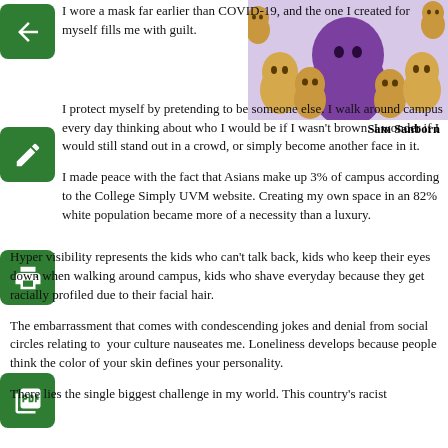[Figure (illustration): Cartoon illustration of a large purple ghost/blob figure surrounded by smaller tan/beige ghost figures on a light purple background]
I wore a mask far earlier than COVID-19, and the one I created for myself fills me with guilt.
I protect myself by pretending to be someone else. I walk around campus every day thinking about who I would be if I wasn't brown. I wonder if I would still stand out in a crowd, or simply become another face in it.
I made peace with the fact that Asians make up 3% of campus according to the College Simply UVM website. Creating my own space in an 82% white population became more of a necessity than a luxury.
Sam Sanborn
Hyper visibility represents the kids who can't talk back, kids who keep their eyes down when walking around campus, kids who shave everyday because they get racially profiled due to their facial hair.
The embarrassment that comes with condescending jokes and denial from social circles relating to  your culture nauseates me. Loneliness develops because people think the color of your skin defines your personality.
There lies the single biggest challenge in my world. This country's racist